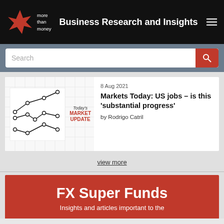Business Research and Insights
[Figure (screenshot): Search bar with red search button]
[Figure (illustration): Today's Market Update badge with line chart scatter plot illustration on grid background]
8 Aug 2021
Markets Today: US jobs – is this 'substantial progress'
by Rodrigo Catril
view more
FX Super Funds
Insights and articles important to the